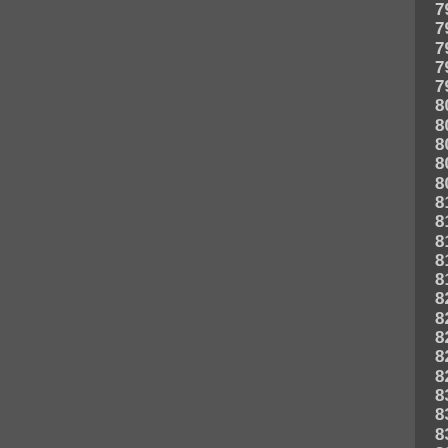Sequential number grid from 7914 to 8382, showing numbers in rows of approximately 9-10 numbers each, incrementing by 20 per row. Numbers are displayed in bold gray text on a dark gray background.